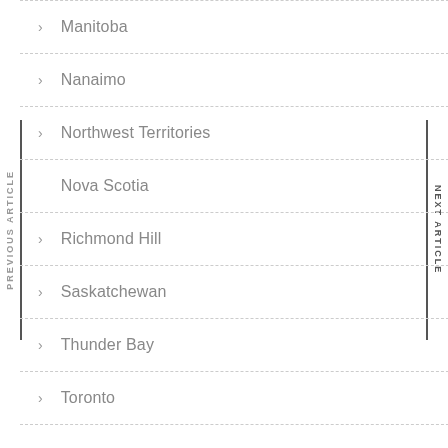Manitoba
Nanaimo
Northwest Territories
Nova Scotia
Richmond Hill
Saskatchewan
Thunder Bay
Toronto